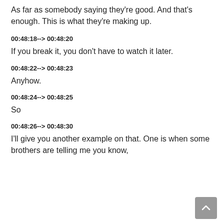As far as somebody saying they're good. And that's enough. This is what they're making up.
00:48:18--> 00:48:20
If you break it, you don't have to watch it later.
00:48:22--> 00:48:23
Anyhow.
00:48:24--> 00:48:25
So
00:48:26--> 00:48:30
I'll give you another example on that. One is when some brothers are telling me you know,